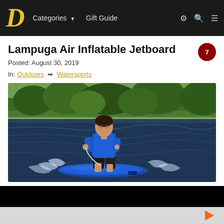D  Categories ▼  Gift Guide
Lampuga Air Inflatable Jetboard
Posted: August 30, 2019
In: Outdoors ➡ Watersports
[Figure (photo): Man riding a blue inflatable jetboard on a lake, wearing a blue wetsuit top and black shorts, leaning forward and holding a cord, with green trees in the background and water spray around the board.]
Ad banner strip at bottom